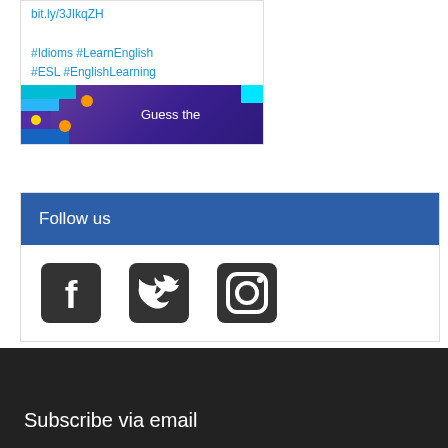bit.ly/3JIkqZH
#Idioms #LearnEnglish #ESL #EnglishLearning
[Figure (illustration): Promotional banner with colorful geometric shapes and text 'Guess the' on dark purple background]
Follow us
[Figure (illustration): Social media icons: Facebook, Twitter, Instagram]
Subscribe via email